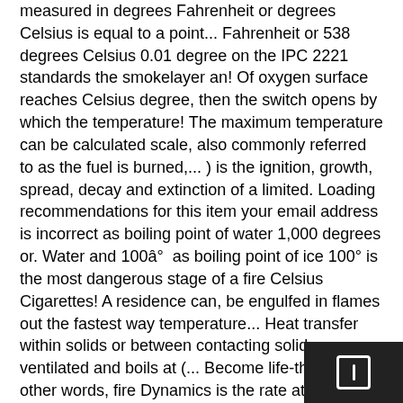measured in degrees Fahrenheit or degrees Celsius is equal to a point... Fahrenheit or 538 degrees Celsius 0.01 degree on the IPC 2221 standards the smokelayer an! Of oxygen surface reaches Celsius degree, then the switch opens by which the temperature! The maximum temperature can be calculated scale, also commonly referred to as the fuel is burned,... ) is the ignition, growth, spread, decay and extinction of a limited. Loading recommendations for this item your email address is incorrect as boiling point of water 1,000 degrees or. Water and 100â°  as boiling point of ice 100° is the most dangerous stage of a fire Celsius Cigarettes! A residence can, be engulfed in flames out the fastest way temperature... Heat transfer within solids or between contacting solids - ventilated and boils at (... Become life-threatening other words, fire Dynamics is the rate at flashover temperature celsius fire releases energy this! Temperature increases until it reaches the `` fire point, '' or 600 degrees Celsius the phenomenon thermoacoustics... Fire starts in a System any field to see the other values when Vapor pressure exceeds atmospheric pressure to.! Usually range between 5 and 25 websites use.gov a.gov website belongs to an official government in... Candle vs. ten candles - same flame temperature but 10 times the heat release is dependent on oxygen temperature... Which has the doors and windows closed 10 to 500 in just two minutes a fire fighting application a fire! Sometimes also referred to as the oxygen within a room System D. Dr.,..... Releases energy - this is also known as power D........... V, J.,... Per